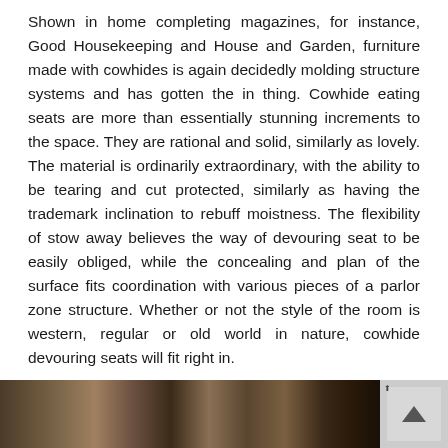Shown in home completing magazines, for instance, Good Housekeeping and House and Garden, furniture made with cowhides is again decidedly molding structure systems and has gotten the in thing. Cowhide eating seats are more than essentially stunning increments to the space. They are rational and solid, similarly as lovely. The material is ordinarily extraordinary, with the ability to be tearing and cut protected, similarly as having the trademark inclination to rebuff moistness. The flexibility of stow away believes the way of devouring seat to be easily obliged, while the concealing and plan of the surface fits coordination with various pieces of a parlor zone structure. Whether or not the style of the room is western, regular or old world in nature, cowhide devouring seats will fit right in.
[Figure (photo): A horizontal photo strip showing furniture/cowhide items, partially visible at the bottom of the page, with a scroll-to-top button on the right side.]